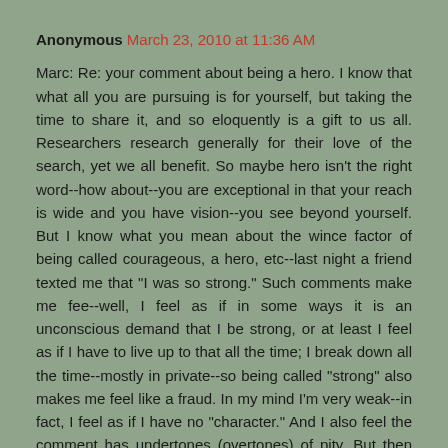Anonymous March 23, 2010 at 11:36 AM

Marc: Re: your comment about being a hero. I know that what all you are pursuing is for yourself, but taking the time to share it, and so eloquently is a gift to us all. Researchers research generally for their love of the search, yet we all benefit. So maybe hero isn't the right word--how about--you are exceptional in that your reach is wide and you have vision--you see beyond yourself. But I know what you mean about the wince factor of being called courageous, a hero, etc--last night a friend texted me that "I was so strong." Such comments make me fee--well, I feel as if in some ways it is an unconscious demand that I be strong, or at least I feel as if I have to live up to that all the time; I break down all the time--mostly in private--so being called "strong" also makes me feel like a fraud. In my mind I'm very weak--in fact, I feel as if I have no "character." And I also feel the comment has undertones (overtones) of pity. But then again, I want friends to understand the shit storm this is. Am I being too defensive and critical? I know people don't know what to say and that is a better remark than some, as in the friend who it appears the friend had...